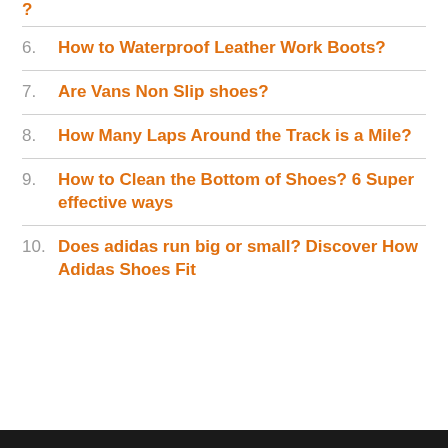6. How to Waterproof Leather Work Boots?
7. Are Vans Non Slip shoes?
8. How Many Laps Around the Track is a Mile?
9. How to Clean the Bottom of Shoes? 6 Super effective ways
10. Does adidas run big or small? Discover How Adidas Shoes Fit